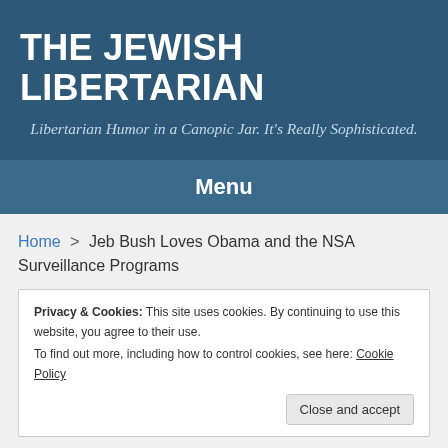THE JEWISH LIBERTARIAN
Libertarian Humor in a Canopic Jar. It's Really Sophisticated.
Menu
Home > Jeb Bush Loves Obama and the NSA Surveillance Programs
Privacy & Cookies: This site uses cookies. By continuing to use this website, you agree to their use.
To find out more, including how to control cookies, see here: Cookie Policy
Close and accept
and the NSA Surveillance